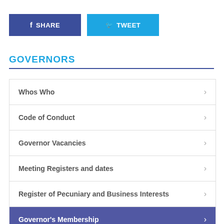f SHARE
y TWEET
GOVERNORS
Whos Who
Code of Conduct
Governor Vacancies
Meeting Registers and dates
Register of Pecuniary and Business Interests
Governor's Membership